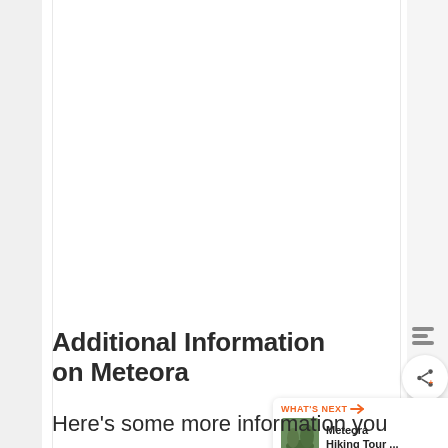Additional Information on Meteora
Here's some more information you
[Figure (other): Orange heart/like button with count of 1, share button, and What's Next panel showing Meteora Hiking Tour thumbnail and label]